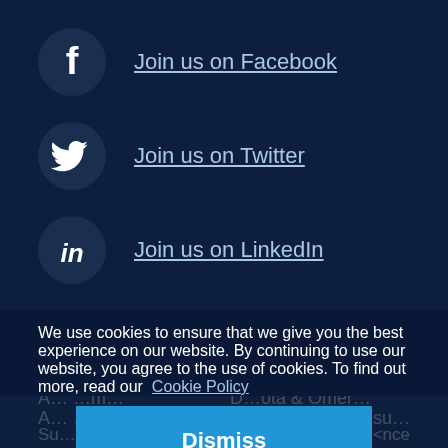Join us on Facebook
Join us on Twitter
Join us on LinkedIn
We use cookies to ensure that we give you the best experience on our website. By continuing to use our website, you agree to the use of cookies. To find out more, read our Cookie Policy
Dismiss